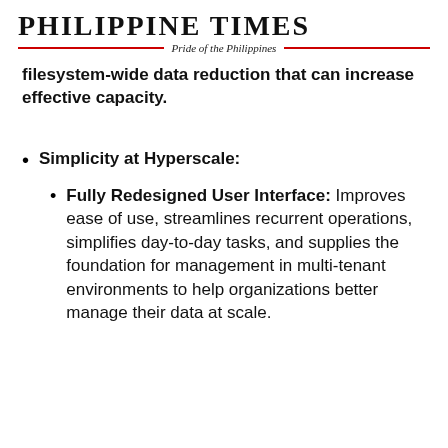PHILIPPINE TIMES — Pride of the Philippines
filesystem-wide data reduction that can increase effective capacity.
Simplicity at Hyperscale:
Fully Redesigned User Interface: Improves ease of use, streamlines recurrent operations, simplifies day-to-day tasks, and supplies the foundation for management in multi-tenant environments to help organizations better manage their data at scale.